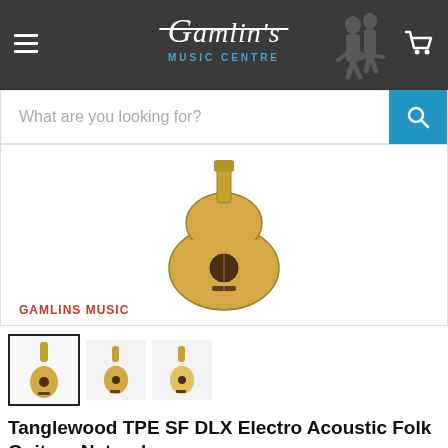[Figure (logo): Gamlin's Music Centre logo with white script text on dark grey background, with silhouette musicians and a cart icon]
What are you looking for?
[Figure (photo): Product image of Tanglewood TPE SF DLX Electro Acoustic Folk Guitar in Natural finish, showing the guitar body. GAMLINS MUSIC watermark in red at bottom left.]
[Figure (photo): Thumbnail images of the guitar - first thumbnail selected with border, two smaller thumbnails beside it]
Tanglewood TPE SF DLX Electro Acoustic Folk Guitar - Natural
Sold out  £599.95 GBP